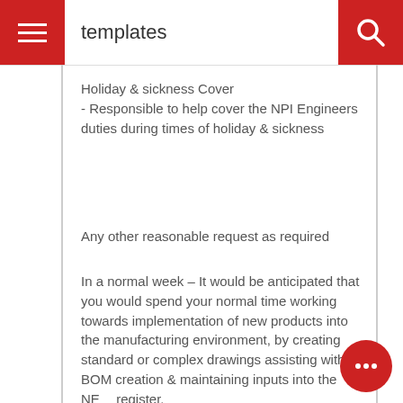templates
Holiday & sickness Cover
- Responsible to help cover the NPI Engineers duties during times of holiday & sickness
Any other reasonable request as required
In a normal week – It would be anticipated that you would spend your normal time working towards implementation of new products into the manufacturing environment, by creating standard or complex drawings assisting with BOM creation & maintaining inputs into the NE register.